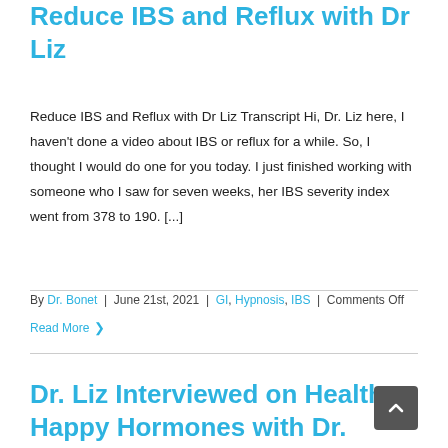Reduce IBS and Reflux with Dr Liz
Reduce IBS and Reflux with Dr Liz Transcript Hi, Dr. Liz here, I haven't done a video about IBS or reflux for a while. So, I thought I would do one for you today. I just finished working with someone who I saw for seven weeks, her IBS severity index went from 378 to 190. [...]
By Dr. Bonet | June 21st, 2021 | GI, Hypnosis, IBS | Comments Off
Read More
Dr. Liz Interviewed on Healthy, Happy Hormones with Dr. Chris